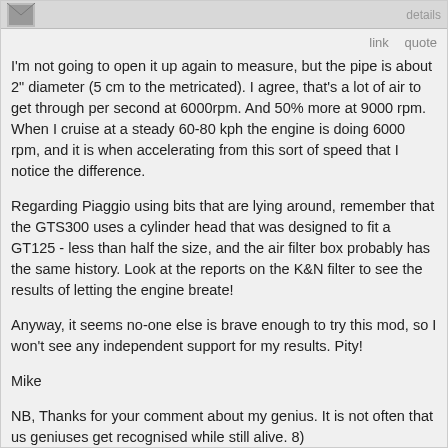details
link   quote
I'm not going to open it up again to measure, but the pipe is about 2" diameter (5 cm to the metricated). I agree, that's a lot of air to get through per second at 6000rpm. And 50% more at 9000 rpm. When I cruise at a steady 60-80 kph the engine is doing 6000 rpm, and it is when accelerating from this sort of speed that I notice the difference.
Regarding Piaggio using bits that are lying around, remember that the GTS300 uses a cylinder head that was designed to fit a GT125 - less than half the size, and the air filter box probably has the same history. Look at the reports on the K&N filter to see the results of letting the engine breate!
Anyway, it seems no-one else is brave enough to try this mod, so I won't see any independent support for my results. Pity!
Mike
NB, Thanks for your comment about my genius. It is not often that us geniuses get recognised while still alive. 8)